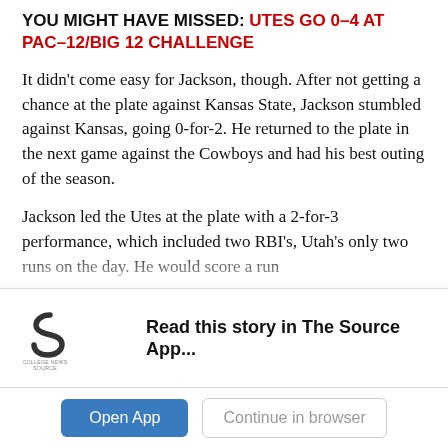YOU MIGHT HAVE MISSED: UTES GO 0-4 AT PAC-12/BIG 12 CHALLENGE
It didn't come easy for Jackson, though. After not getting a chance at the plate against Kansas State, Jackson stumbled against Kansas, going 0-for-2. He returned to the plate in the next game against the Cowboys and had his best outing of the season.
Jackson led the Utes at the plate with a 2-for-3 performance, which included two RBI's, Utah's only two runs on the day. He would score a run...
[Figure (logo): College News Source app logo and 'Read this story in The Source App...' app banner]
Open App | Continue in browser